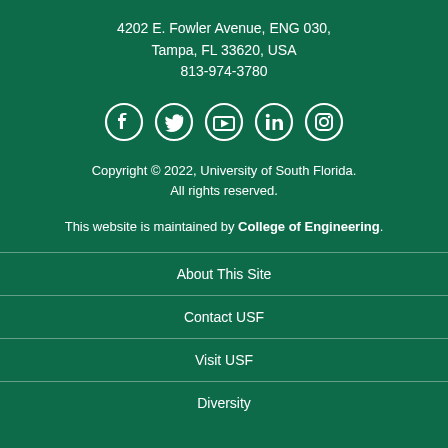4202 E. Fowler Avenue, ENG 030,
Tampa, FL 33620, USA
813-974-3780
[Figure (infographic): Row of social media icons: Facebook, Twitter, YouTube, LinkedIn, Instagram — white outlines on dark green background]
Copyright © 2022, University of South Florida.
All rights reserved.
This website is maintained by College of Engineering.
About This Site
Contact USF
Visit USF
Diversity